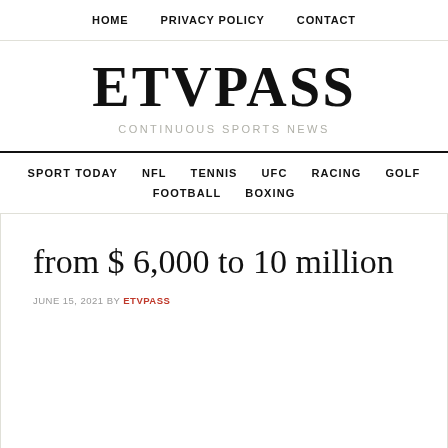HOME   PRIVACY POLICY   CONTACT
ETVPASS
CONTINUOUS SPORTS NEWS
SPORT TODAY   NFL   TENNIS   UFC   RACING   GOLF   FOOTBALL   BOXING
from $ 6,000 to 10 million
JUNE 15, 2021 BY ETVPASS